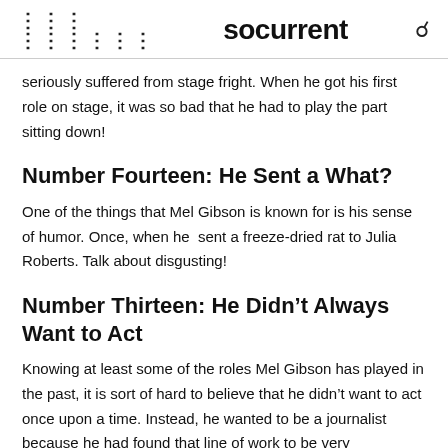socurrent
seriously suffered from stage fright. When he got his first role on stage, it was so bad that he had to play the part sitting down!
Number Fourteen: He Sent a What?
One of the things that Mel Gibson is known for is his sense of humor. Once, when he  sent a freeze-dried rat to Julia Roberts. Talk about disgusting!
Number Thirteen: He Didn’t Always Want to Act
Knowing at least some of the roles Mel Gibson has played in the past, it is sort of hard to believe that he didn’t want to act once upon a time. Instead, he wanted to be a journalist because he had found that line of work to be very interesting.